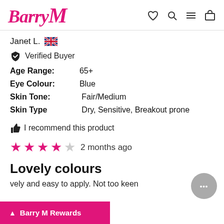Barry M
Janet L. [UK flag]
Verified Buyer
Age Range: 65+
Eye Colour: Blue
Skin Tone: Fair/Medium
Skin Type: Dry, Sensitive, Breakout prone
I recommend this product
★★★★☆ 2 months ago
Lovely colours
vely and easy to apply. Not too keen
Barry M Rewards